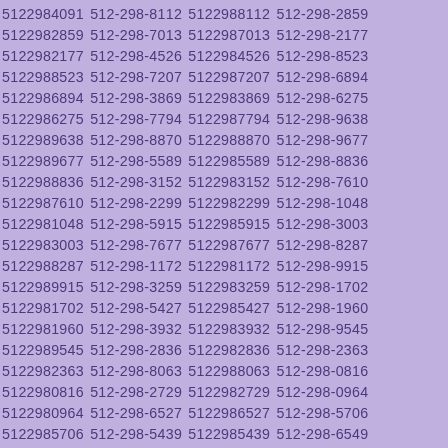5122984091 512-298-8112 5122988112 512-298-2859 5122982859 512-298-7013 5122987013 512-298-2177 5122982177 512-298-4526 5122984526 512-298-8523 5122988523 512-298-7207 5122987207 512-298-6894 5122986894 512-298-3869 5122983869 512-298-6275 5122986275 512-298-7794 5122987794 512-298-9638 5122989638 512-298-8870 5122988870 512-298-9677 5122989677 512-298-5589 5122985589 512-298-8836 5122988836 512-298-3152 5122983152 512-298-7610 5122987610 512-298-2299 5122982299 512-298-1048 5122981048 512-298-5915 5122985915 512-298-3003 5122983003 512-298-7677 5122987677 512-298-8287 5122988287 512-298-1172 5122981172 512-298-9915 5122989915 512-298-3259 5122983259 512-298-1702 5122981702 512-298-5427 5122985427 512-298-1960 5122981960 512-298-3932 5122983932 512-298-9545 5122989545 512-298-2836 5122982836 512-298-2363 5122982363 512-298-8063 5122988063 512-298-0816 5122980816 512-298-2729 5122982729 512-298-0964 5122980964 512-298-6527 5122986527 512-298-5706 5122985706 512-298-5439 5122985439 512-298-6549 5122986549 512-298-5694 5122985694 512-298-3907 5122983907 512-298-7160 5122987160 512-298-9949 5122989949 512-298-6517 5122986517 512-298-0932 5122980932 512-298-7363 5122987363 512-298-7744 5122987744 512-298-7735 5122987735 512-298-5027 5122985027 512-298-6556 5122986556 512-298-8283 5122988283 512-298-7374 5122987374 512-298-9156 5122989156 512-298-8067 5122988067 512-298-9233 5122989233 512-298-8753 5122988753 512-298-4049 5122984049 512-298-2535 5122982535 512-298-7146 5122987146